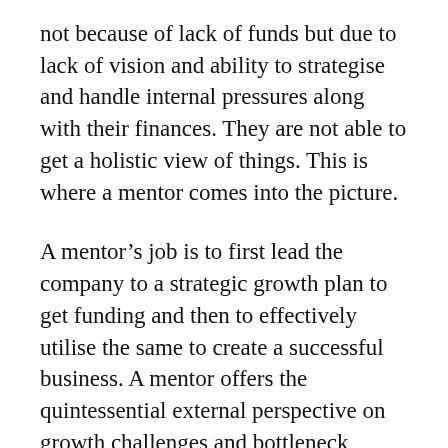not because of lack of funds but due to lack of vision and ability to strategise and handle internal pressures along with their finances. They are not able to get a holistic view of things. This is where a mentor comes into the picture.
A mentor's job is to first lead the company to a strategic growth plan to get funding and then to effectively utilise the same to create a successful business. A mentor offers the quintessential external perspective on growth challenges and bottleneck which is very significant to ensure consistent growth. Here are five ways how an expert financial advisor can help startups to navigate the